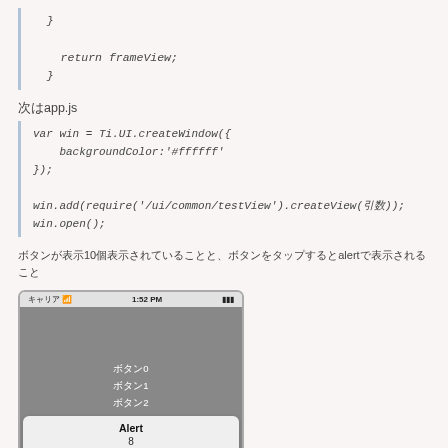}

    return frameView;
  }
次はapp.js
var win = Ti.UI.createWindow({
    backgroundColor:'#ffffff'
});

win.add(require('/ui/common/testView').createView(引数));
win.open();
ボタンが表示10個表示されていることと、ボタンをタップするとalertで表示されること
[Figure (screenshot): iOS simulator screenshot showing a list of buttons (ボタン0, ボタン1, ボタン2) on a gray background, with an Alert dialog showing the value 8]